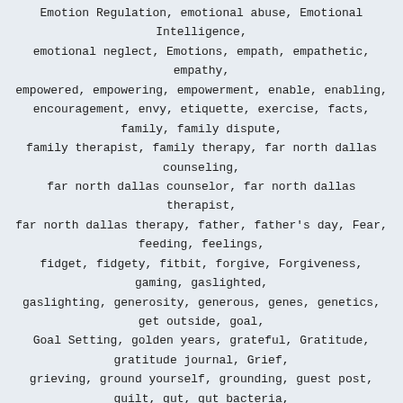Emotion Regulation, emotional abuse, Emotional Intelligence, emotional neglect, Emotions, empath, empathetic, empathy, empowered, empowering, empowerment, enable, enabling, encouragement, envy, etiquette, exercise, facts, family, family dispute, family therapist, family therapy, far north dallas counseling, far north dallas counselor, far north dallas therapist, far north dallas therapy, father, father's day, Fear, feeding, feelings, fidget, fidgety, fitbit, forgive, Forgiveness, gaming, gaslighted, gaslighting, generosity, generous, genes, genetics, get outside, goal, Goal Setting, golden years, grateful, Gratitude, gratitude journal, Grief, grieving, ground yourself, grounding, guest post, guilt, gut, gut bacteria, habit, habits, harassment, health, health living, health technology, healthy living, holiday, holiday planning, holiday stress, Hospice, houston counseling, houston counselor, houston therapist, houston therapy, humble, humility, Humor, identify, information, inner critic, Intelligence, internet, internet addiction, intervention, interventions, irrational thoughts, irving counseling, irving counselor, irving therapist, irving therapy, journal, Journaling, language, language skills, learn, learning, LGBT, LGBTQ, lifespan,